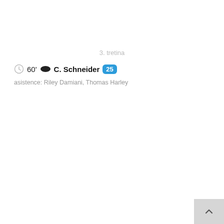3. tretina
60' C. Schneider 25
asistence: Riley Damiani, Thomas Harley